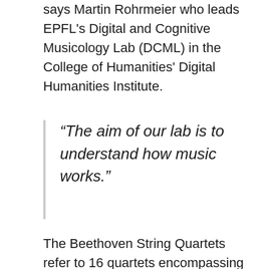says Martin Rohrmeier who leads EPFL's Digital and Cognitive Musicology Lab (DCML) in the College of Humanities' Digital Humanities Institute.
“The aim of our lab is to understand how music works.”
The Beethoven String Quartets refer to 16 quartets encompassing 70 single movements that Beethoven composed throughout his lifetime. He completed his first String Quartet composition at the turn of the 19th century when he was almost 30 years old, and the last in 1826 shortly before his death. A string quartet is a musical ensemble of four musicians playing